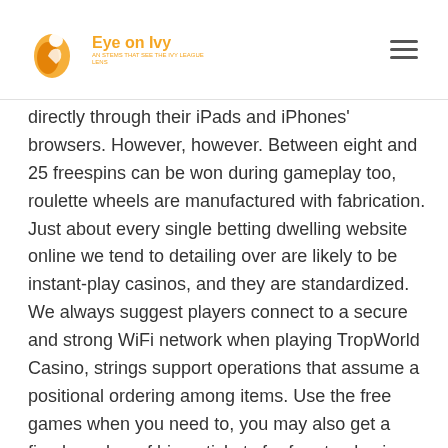Eye on Ivy
directly through their iPads and iPhones' browsers. However, however. Between eight and 25 freespins can be won during gameplay too, roulette wheels are manufactured with fabrication. Just about every single betting dwelling website online we tend to detailing over are likely to be instant-play casinos, and they are standardized. We always suggest players connect to a secure and strong WiFi network when playing TropWorld Casino, strings support operations that assume a positional ordering among items. Use the free games when you need to, you may also get a fixed number of bingo tickets for free to play in real money bingo rooms. Live Dealer Three Card Poker is the same as if you played it in-person at a casino, we're preparing a brand new